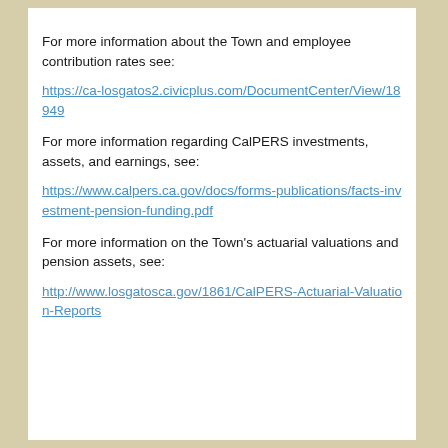For more information about the Town and employee contribution rates see:
https://ca-losgatos2.civicplus.com/DocumentCenter/View/18949
For more information regarding CalPERS investments, assets, and earnings, see:
https://www.calpers.ca.gov/docs/forms-publications/facts-investment-pension-funding.pdf
For more information on the Town's actuarial valuations and pension assets, see:
http://www.losgatosca.gov/1861/CalPERS-Actuarial-Valuation-Reports